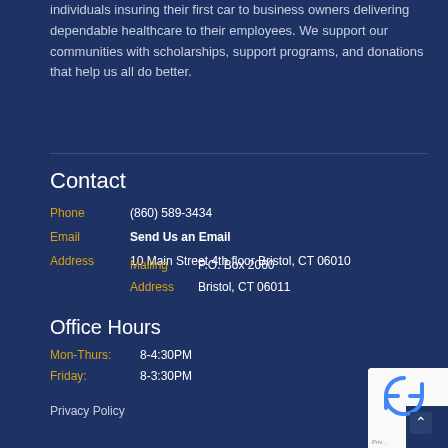individuals insuring their first car to business owners delivering dependable healthcare to their employees. We support our communities with scholarships, support programs, and donations that help us all do better.
Contact
Phone (860) 589-3434
Email Send Us an Email
Address 10 Main Street 4th floor Bristol, CT 06010
Mailing P.O. Box 2060
Address Bristol, CT 06011
Office Hours
Mon-Thurs: 8-4:30PM
Friday: 8-3:30PM
Privacy Policy